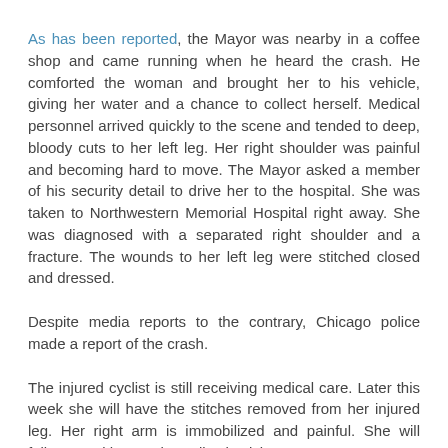As has been reported, the Mayor was nearby in a coffee shop and came running when he heard the crash. He comforted the woman and brought her to his vehicle, giving her water and a chance to collect herself. Medical personnel arrived quickly to the scene and tended to deep, bloody cuts to her left leg. Her right shoulder was painful and becoming hard to move. The Mayor asked a member of his security detail to drive her to the hospital. She was taken to Northwestern Memorial Hospital right away. She was diagnosed with a separated right shoulder and a fracture. The wounds to her left leg were stitched closed and dressed.
Despite media reports to the contrary, Chicago police made a report of the crash.
The injured cyclist is still receiving medical care. Later this week she will have the stitches removed from her injured leg. Her right arm is immobilized and painful. She will follow up with an orthopedic physician.